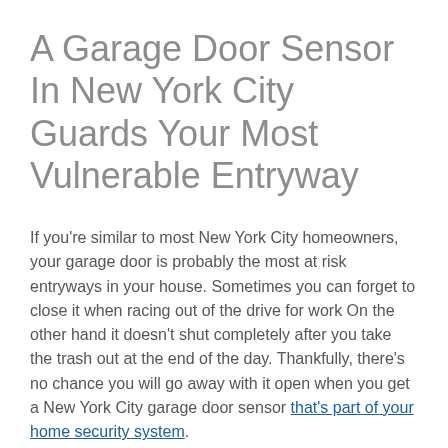A Garage Door Sensor In New York City Guards Your Most Vulnerable Entryway
If you're similar to most New York City homeowners, your garage door is probably the most at risk entryways in your house. Sometimes you can forget to close it when racing out of the drive for work On the other hand it doesn't shut completely after you take the trash out at the end of the day. Thankfully, there's no chance you will go away with it open when you get a New York City garage door sensor that's part of your home security system.